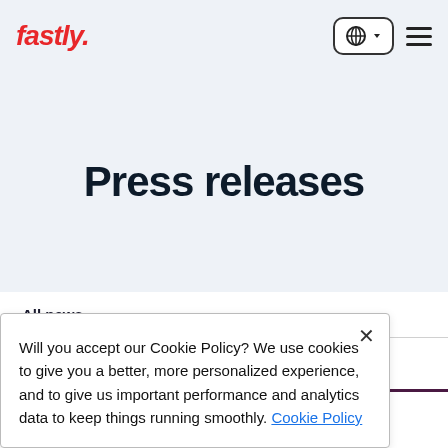fastly.
Press releases
All news
Press releases
Will you accept our Cookie Policy? We use cookies to give you a better, more personalized experience, and to give us important performance and analytics data to keep things running smoothly. Cookie Policy